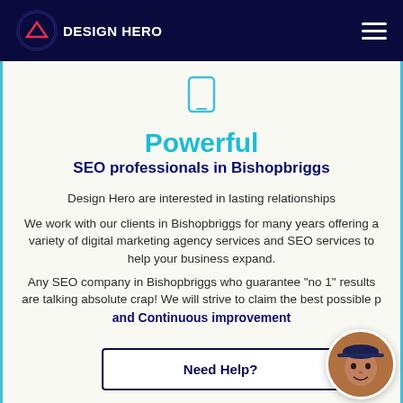DESIGN HERO
[Figure (logo): Small icon/logo in teal outline style — a smartphone or rectangle outline]
Powerful
SEO professionals in Bishopbriggs
Design Hero are interested in lasting relationships
We work with our clients in Bishopbriggs for many years offering a variety of digital marketing agency services and SEO services to help your business expand.
Any SEO company in Bishopbriggs who guarantee "no 1" results are talking absolute crap! We will strive to claim the best possible p...
and Continuous improvement
Need Help?
[Figure (photo): Circular avatar photo of a man wearing a dark cap]